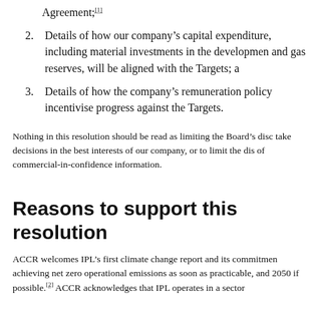Agreement;[1]
2. Details of how our company's capital expenditure, including material investments in the development and gas reserves, will be aligned with the Targets; a
3. Details of how the company's remuneration policy incentivise progress against the Targets.
Nothing in this resolution should be read as limiting the Board's disc take decisions in the best interests of our company, or to limit the dis of commercial-in-confidence information.
Reasons to support this resolution
ACCR welcomes IPL's first climate change report and its commitmen achieving net zero operational emissions as soon as practicable, and 2050 if possible.[2] ACCR acknowledges that IPL operates in a sector